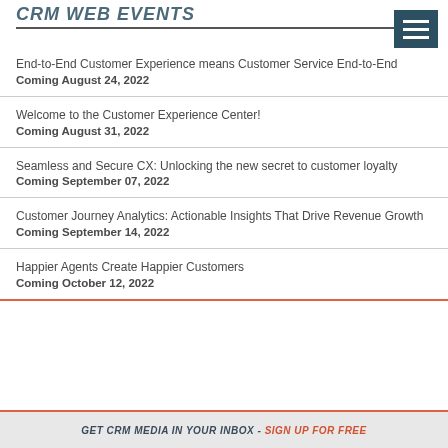CRM WEB EVENTS
End-to-End Customer Experience means Customer Service End-to-End
Coming August 24, 2022
Welcome to the Customer Experience Center!
Coming August 31, 2022
Seamless and Secure CX: Unlocking the new secret to customer loyalty
Coming September 07, 2022
Customer Journey Analytics: Actionable Insights That Drive Revenue Growth
Coming September 14, 2022
Happier Agents Create Happier Customers
Coming October 12, 2022
GET CRM MEDIA IN YOUR INBOX - SIGN UP FOR FREE